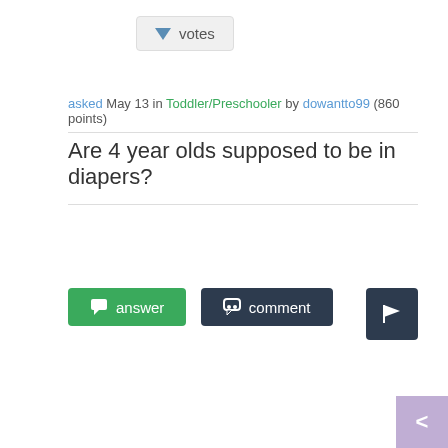[Figure (other): Vote button with downward triangle arrow icon and 'votes' label]
asked May 13 in Toddler/Preschooler by dowantto99 (860 points)
Are 4 year olds supposed to be in diapers?
[Figure (other): Answer button (green), Comment button (dark), and Flag button (dark) action buttons]
[Figure (other): Navigation arrow button (purple/lavender) pointing left, bottom-right corner]